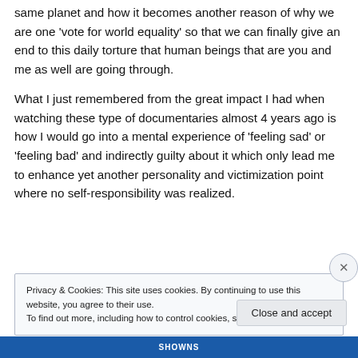same planet and how it becomes another reason of why we are one 'vote for world equality' so that we can finally give an end to this daily torture that human beings that are you and me as well are going through.
What I just remembered from the great impact I had when watching these type of documentaries almost 4 years ago is how I would go into a mental experience of 'feeling sad' or 'feeling bad' and indirectly guilty about it which only lead me to enhance yet another personality and victimization point where no self-responsibility was realized.
Privacy & Cookies: This site uses cookies. By continuing to use this website, you agree to their use. To find out more, including how to control cookies, see here: Cookie Policy
Close and accept